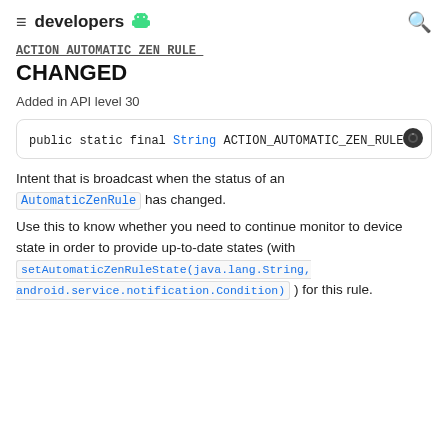developers
CHANGED
Added in API level 30
Intent that is broadcast when the status of an AutomaticZenRule has changed.
Use this to know whether you need to continue monitor to device state in order to provide up-to-date states (with setAutomaticZenRuleState(java.lang.String, android.service.notification.Condition) ) for this rule.